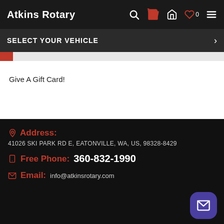Atkins Rotary
SELECT YOUR VEHICLE
Give A Gift Card!
Address: 41026 SKI PARK RD E, EATONVILLE, WA, US, 98328-8429
Free Phone: 360-832-1990
Email: info@atkinsrotary.com